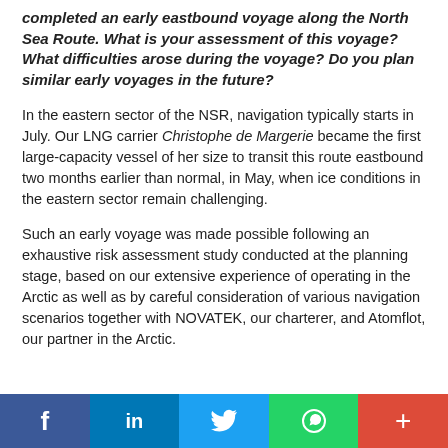completed an early eastbound voyage along the North Sea Route. What is your assessment of this voyage? What difficulties arose during the voyage? Do you plan similar early voyages in the future?
In the eastern sector of the NSR, navigation typically starts in July. Our LNG carrier Christophe de Margerie became the first large-capacity vessel of her size to transit this route eastbound two months earlier than normal, in May, when ice conditions in the eastern sector remain challenging.
Such an early voyage was made possible following an exhaustive risk assessment study conducted at the planning stage, based on our extensive experience of operating in the Arctic as well as by careful consideration of various navigation scenarios together with NOVATEK, our charterer, and Atomflot, our partner in the Arctic.
Social share buttons: Facebook, LinkedIn, Twitter, WhatsApp, Google+